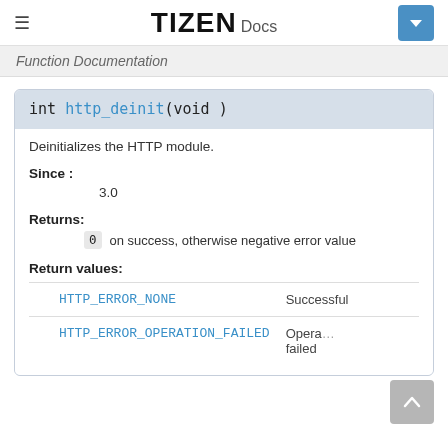TIZEN Docs
Function Documentation
int http_deinit(void )
Deinitializes the HTTP module.
Since :
3.0
Returns:
0  on success, otherwise negative error value
Return values:
|  |  |
| --- | --- |
| HTTP_ERROR_NONE | Successful |
| HTTP_ERROR_OPERATION_FAILED | Operation failed |